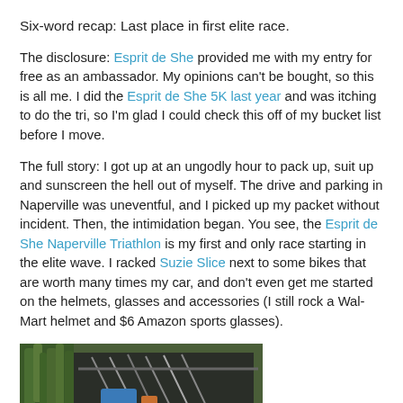Six-word recap: Last place in first elite race.
The disclosure: Esprit de She provided me with my entry for free as an ambassador. My opinions can't be bought, so this is all me. I did the Esprit de She 5K last year and was itching to do the tri, so I'm glad I could check this off of my bucket list before I move.
The full story: I got up at an ungodly hour to pack up, suit up and sunscreen the hell out of myself. The drive and parking in Naperville was uneventful, and I picked up my packet without incident. Then, the intimidation began. You see, the Esprit de She Naperville Triathlon is my first and only race starting in the elite wave. I racked Suzie Slice next to some bikes that are worth many times my car, and don't even get me started on the helmets, glasses and accessories (I still rock a Wal-Mart helmet and $6 Amazon sports glasses).
[Figure (photo): Photo of bicycles racked at a triathlon transition area with equipment and greenery in the background]